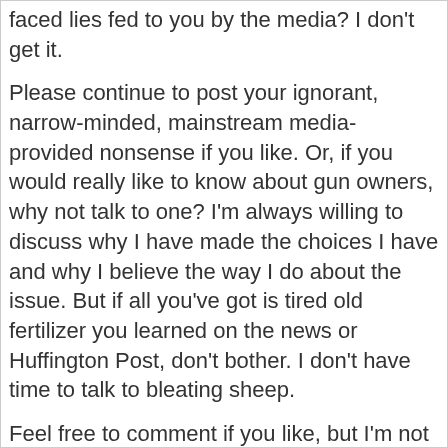faced lies fed to you by the media?  I don't get it.
Please continue to post your ignorant, narrow-minded, mainstream media-provided nonsense if you like. Or, if you would really like to know about gun owners, why not talk to one? I'm always willing to discuss why I have made the choices I have and why I believe the way I do about the issue. But if all you've got is tired old fertilizer you learned on the news or Huffington Post, don't bother. I don't have time to talk to bleating sheep.
Feel free to comment if you like, but I'm not looking to start a debate. This is my opinion, which is based on research and experience, not my feelings or anything I've been told to think. I don't care if you don't like it. You are not going to change it.